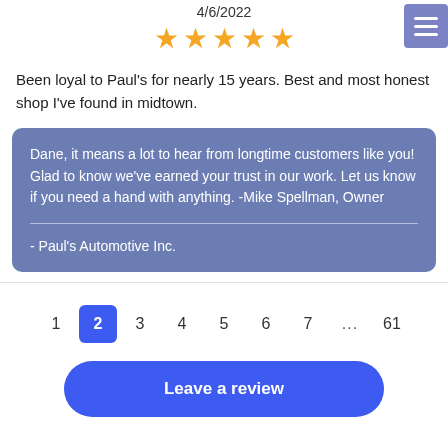4/6/2022
[Figure (other): Five gold star rating]
Been loyal to Paul's for nearly 15 years. Best and most honest shop I've found in midtown.
Dane, it means a lot to hear from longtime customers like you! Glad to know we've earned your trust in our work. Let us know if you need a hand with anything. -Mike Spellman, Owner
- Paul's Automotive Inc.
1  2  3  4  5  6  7  ...  61
Leave a review